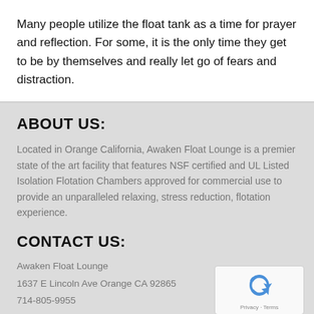Many people utilize the float tank as a time for prayer and reflection. For some, it is the only time they get to be by themselves and really let go of fears and distraction.
ABOUT US:
Located in Orange California, Awaken Float Lounge is a premier state of the art facility that features NSF certified and UL Listed Isolation Flotation Chambers approved for commercial use to provide an unparalleled relaxing, stress reduction, flotation experience.
CONTACT US:
Awaken Float Lounge
1637 E Lincoln Ave Orange CA 92865
714-805-9955